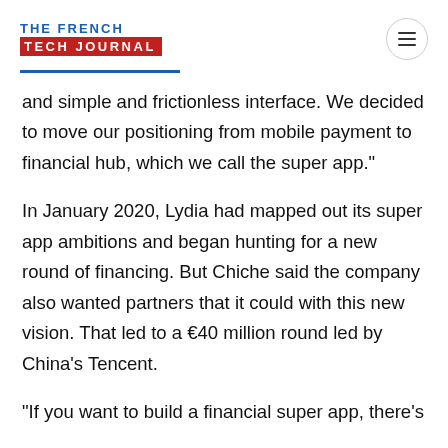THE FRENCH TECH JOURNAL
and simple and frictionless interface. We decided to move our positioning from mobile payment to financial hub, which we call the super app."
In January 2020, Lydia had mapped out its super app ambitions and began hunting for a new round of financing. But Chiche said the company also wanted partners that it could with this new vision. That led to a €40 million round led by China's Tencent.
"If you want to build a financial super app, there's